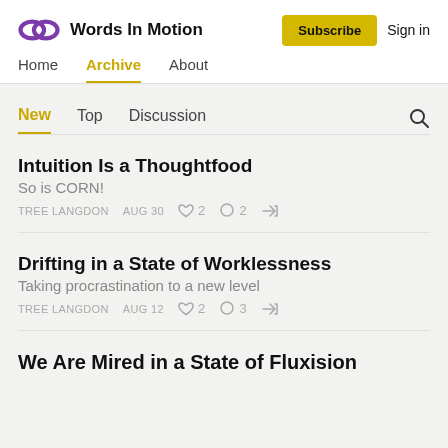Words In Motion — Home | Archive | About | Subscribe | Sign in
New | Top | Discussion
Intuition Is a Thoughtfood
So is CORN!
TREE LANGDON   AUG 30   ♡ 2   ○ 2   Share
Drifting in a State of Worklessness
Taking procrastination to a new level
TREE LANGDON   AUG 12   ♡ 2   ○ 3   Share
We Are Mired in a State of Fluxision